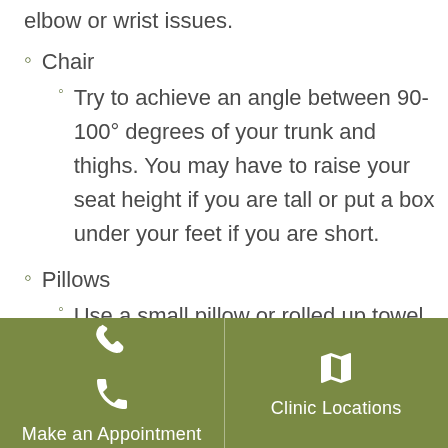elbow or wrist issues.
Chair
Try to achieve an angle between 90-100° degrees of your trunk and thighs. You may have to raise your seat height if you are tall or put a box under your feet if you are short.
Pillows
Use a small pillow or rolled up towel in the small of the back.
Try it vertically or horizontally and
Make an Appointment  Clinic Locations